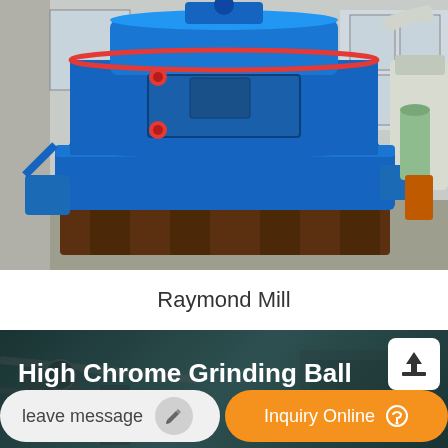[Figure (photo): Large blue industrial Raymond Mill machine sitting in a factory/warehouse setting, with red valve handles and access panels visible on the cylindrical body]
Raymond Mill
[Figure (photo): Dark teal/green banner with industrial machinery background showing 'High Chrome Grinding Ball' title text in white bold font, with a blue underline accent, and an upload/share button in the top right corner]
leave message
Inquiry Online